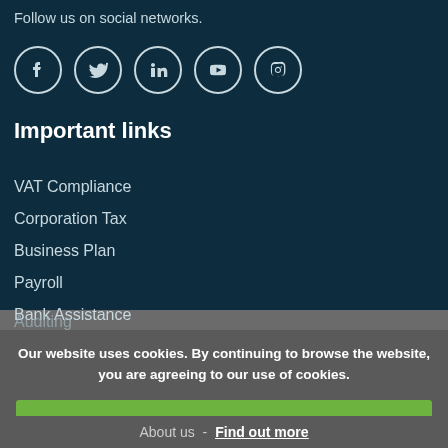Follow us on social networks.
[Figure (illustration): Five social media icons in white circles on dark background: Facebook, Twitter, LinkedIn, YouTube, Instagram]
Important links
VAT Compliance
Corporation Tax
Business Plan
Payroll
Bank Assistance
Auditing
Our website uses cookies. By continuing to browse the website, you are agreeing to our use of cookies.
I AUTHORISE
About us  -  Find out more